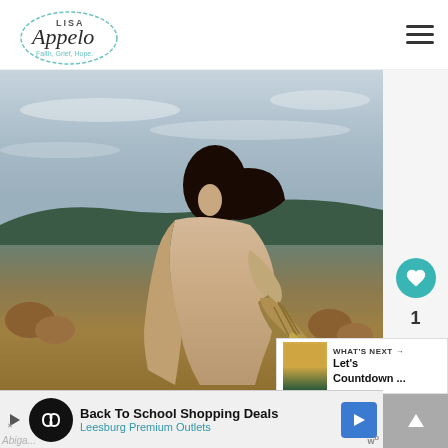[Figure (logo): Lisa Appelo blog logo — circular design with script text 'Lisa Appelo' and tagline 'Faith, Grief, Hope']
[Figure (photo): Woman with curly dark hair wearing a long beige/cream draped wrap, standing in an autumn field holding a bundle of wheat/dried grasses, landscape behind her with rolling hills and golden foliage]
[Figure (infographic): Right sidebar UI: teal heart/like button, count '1', and share button]
WHAT'S NEXT → Let's Countdown ...
[Figure (screenshot): Gray navigation arrow box]
Back To School Shopping Deals
Leesburg Premium Outlets